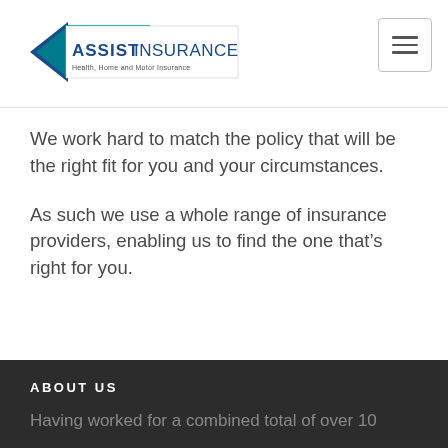ASSIST INSURANCE - Health, Home and Motor Insurance
We work hard to match the policy that will be the right fit for you and your circumstances.
As such we use a whole range of insurance providers, enabling us to find the one that’s right for you.
ABOUT US
Having worked for a combined total of over 10